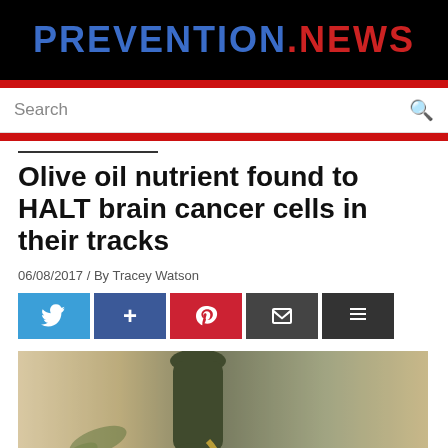PREVENTION.NEWS
Search
Olive oil nutrient found to HALT brain cancer cells in their tracks
06/08/2017 / By Tracey Watson
[Figure (photo): Olive oil being poured from a dark bottle, with olive branches visible in the background]
[Figure (infographic): Social share buttons: Twitter, Facebook, Pinterest, Email, More]